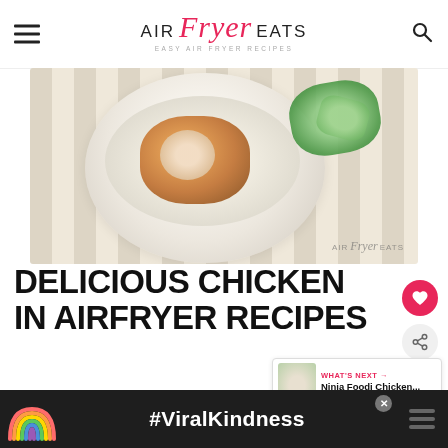AIR Fryer EATS — EASY AIR FRYER RECIPES
[Figure (photo): Photo of a white plate with cooked chicken breast cut open, served on white rice with green leaves (spinach), placed on a striped cloth. Air Fryer Eats watermark in bottom right.]
DELICIOUS CHICKEN IN AIRFRYER RECIPES
Chicken breasts in the air fryer can be
[Figure (infographic): WHAT'S NEXT panel showing Ninja Foodi Chicken... with thumbnail image]
#ViralKindness ad banner with rainbow illustration